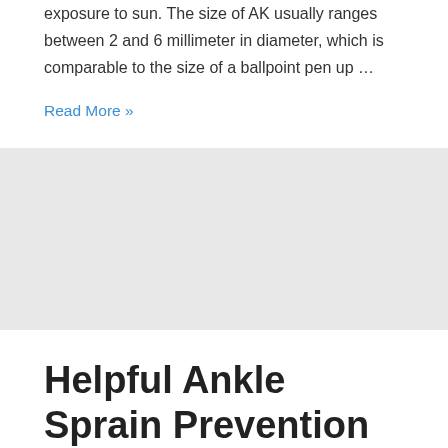exposure to sun. The size of AK usually ranges between 2 and 6 millimeter in diameter, which is comparable to the size of a ballpoint pen up …
Read More »
Helpful Ankle Sprain Prevention Tips
Leave a Comment / Mild Emergencies / By Aris Eff
What is sprain? A torn or stretched ligament is known as sprain. The main function of the ligament is to connect two bones on a joint and prevent the bones from moving out of their place. Because sprain is usually caused by heavy force to the ligaments due to sudden twisting or changing of direction, …